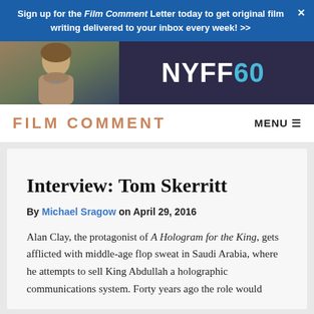Sign up for the Film Comment Letter today to get original film writing delivered to your inbox every week! >>
[Figure (illustration): NYFF60 advertisement banner showing a portrait of a woman in period dress on the left and 'NYFF60' text logo on dark purple background on the right]
FILM COMMENT   MENU
Interview: Tom Skerritt
By Michael Sragow on April 29, 2016
Alan Clay, the protagonist of A Hologram for the King, gets afflicted with middle-age flop sweat in Saudi Arabia, where he attempts to sell King Abdullah a holographic communications system. Forty years ago the role would